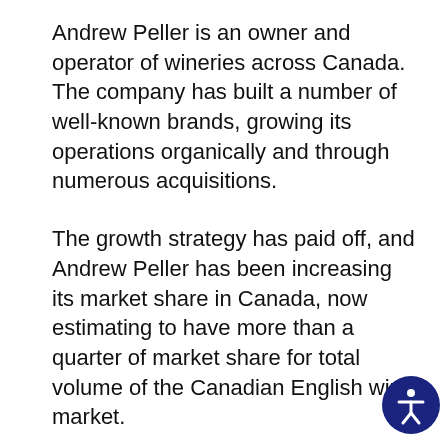Andrew Peller is an owner and operator of wineries across Canada. The company has built a number of well-known brands, growing its operations organically and through numerous acquisitions.
The growth strategy has paid off, and Andrew Peller has been increasing its market share in Canada, now estimating to have more than a quarter of market share for total volume of the Canadian English wine market.
Andrew Peller's own namesake brand Peller Estates leads the market share for the company as the top-selling brand in the Canadian English wine market.